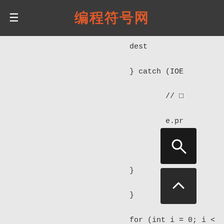编程符号网
dest
} catch (IOE
    // □
    e.pr
    retu
}
}
for (int i = 0; i <
    File partFil
    FileO    St
    // □□    □
    FileU    cc
    destTempfo